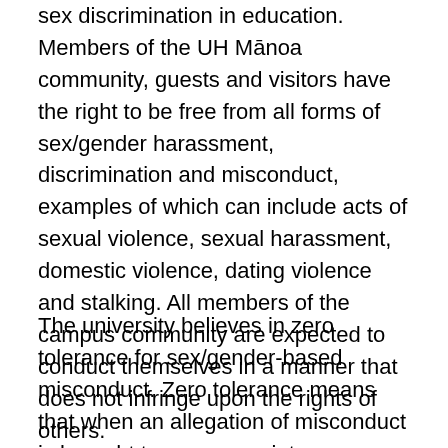sex discrimination in education. Members of the UH Mānoa community, guests and visitors have the right to be free from all forms of sex/gender harassment, discrimination and misconduct, examples of which can include acts of sexual violence, sexual harassment, domestic violence, dating violence and stalking. All members of the campus community are expected to conduct themselves in a manner that does not infringe upon the rights of others.
The university believes in zero tolerance for sex/gender-based misconduct. Zero tolerance means that when an allegation of misconduct is brought to an appropriate administrator's attention, protective and other remedial measures will be used to reasonably ensure that such conduct ends, is not repeated and the effects on the victim and community are remedied.